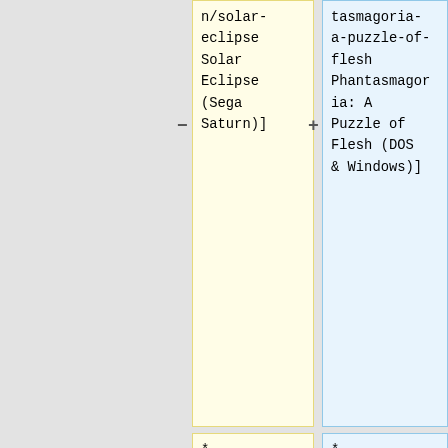n/solar-eclipse Solar Eclipse (Sega Saturn)]
tasmagoria-a-puzzle-of-flesh Phantasmagoria: A Puzzle of Flesh (DOS & Windows)]
* [http://www.mobygames.com/game/saturn/sonic-3d-blast Sonic 3D Blast (Sega Saturn)]
* [https://www.mobygames.com/game/santa-fe-mysteries-the-elk-moon-murder Santa Fe Mysteries: The Elk Moon Murder (DOS &